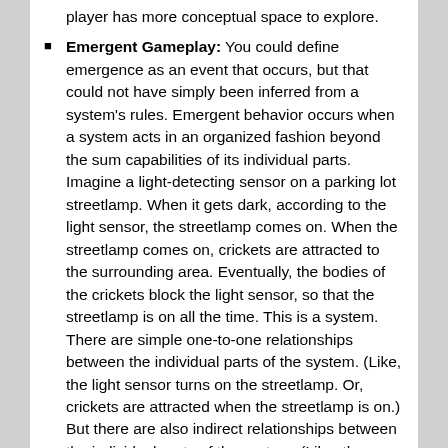player has more conceptual space to explore.
Emergent Gameplay: You could define emergence as an event that occurs, but that could not have simply been inferred from a system's rules. Emergent behavior occurs when a system acts in an organized fashion beyond the sum capabilities of its individual parts. Imagine a light-detecting sensor on a parking lot streetlamp. When it gets dark, according to the light sensor, the streetlamp comes on. When the streetlamp comes on, crickets are attracted to the surrounding area. Eventually, the bodies of the crickets block the light sensor, so that the streetlamp is on all the time. This is a system. There are simple one-to-one relationships between the individual parts of the system. (Like, the light sensor turns on the streetlamp. Or, crickets are attracted when the streetlamp is on.) But there are also indirect relationships between the individual parts of the system. (Like, the crickets and the streetlamp-the crickets simply were drawn to the light. Yet, at a more complex level that might not be